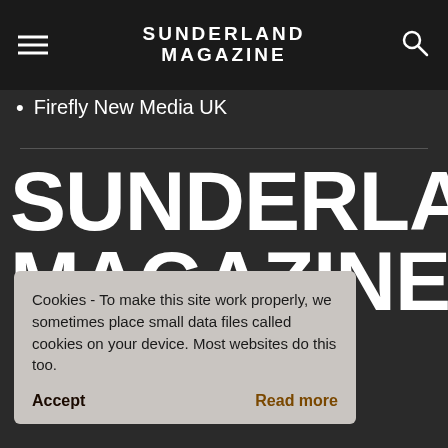SUNDERLAND MAGAZINE
Firefly New Media UK
SUNDERLAND MAGAZINE
Cookies - To make this site work properly, we sometimes place small data files called cookies on your device. Most websites do this too.